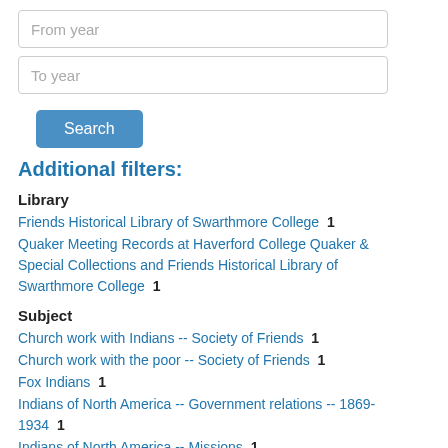From year
To year
Search
Additional filters:
Library
Friends Historical Library of Swarthmore College   1
Quaker Meeting Records at Haverford College Quaker & Special Collections and Friends Historical Library of Swarthmore College   1
Subject
Church work with Indians -- Society of Friends   1
Church work with the poor -- Society of Friends   1
Fox Indians   1
Indians of North America -- Government relations -- 1869-1934   1
Indians of North America -- Missions   1